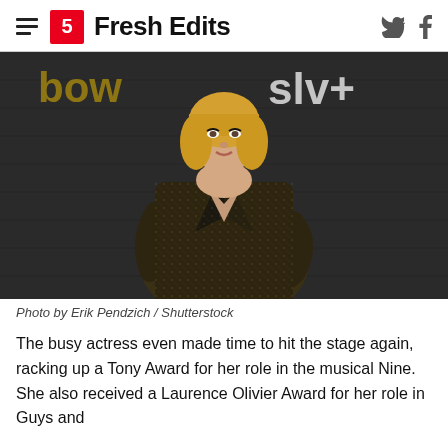Fresh Edits
[Figure (photo): A blonde woman in a dark sparkly blazer with a deep V neckline and a jeweled choker necklace, posing at what appears to be a red carpet or press event with a dark wood-paneled background and partial text visible behind her.]
Photo by Erik Pendzich / Shutterstock
The busy actress even made time to hit the stage again, racking up a Tony Award for her role in the musical Nine. She also received a Laurence Olivier Award for her role in Guys and